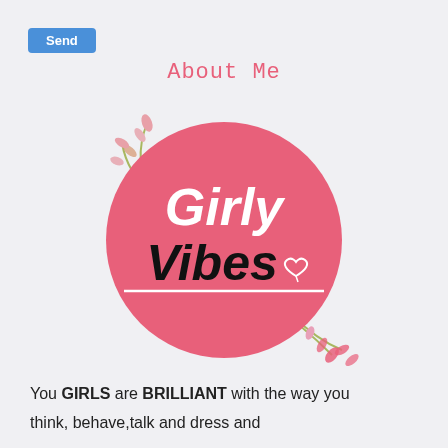Send
About Me
[Figure (logo): Girly Vibes logo: large pink circle with white italic text 'Girly' and black bold italic text 'Vibes' with a heart outline, underline beneath, and watercolor floral sprigs decorating top-left and bottom-right of the circle]
You GIRLS are BRILLIANT with the way you think, behave,talk and dress and